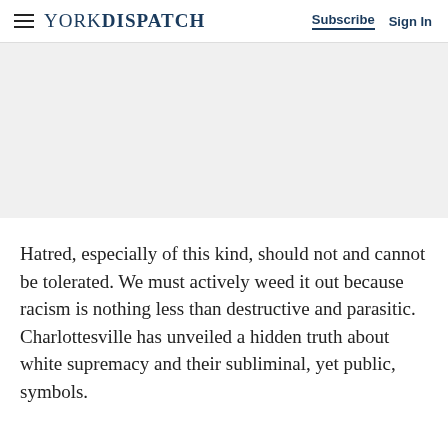YORK DISPATCH | Subscribe | Sign In
[Figure (other): Gray advertisement placeholder area]
Hatred, especially of this kind, should not and cannot be tolerated. We must actively weed it out because racism is nothing less than destructive and parasitic. Charlottesville has unveiled a hidden truth about white supremacy and their subliminal, yet public, symbols.